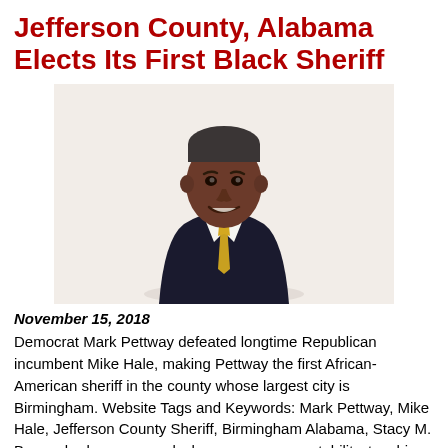Jefferson County, Alabama Elects Its First Black Sheriff
[Figure (photo): Portrait photo of Mark Pettway, a middle-aged African-American man in a dark suit with a yellow patterned tie, smiling, against a white background.]
November 15, 2018
Democrat Mark Pettway defeated longtime Republican incumbent Mike Hale, making Pettway the first African-American sheriff in the county whose largest city is Birmingham. Website Tags and Keywords: Mark Pettway, Mike Hale, Jefferson County Sheriff, Birmingham Alabama, Stacy M. Brown, body cameras, dash cameras, accountability, teaching inmates skills, gap between law enforcement